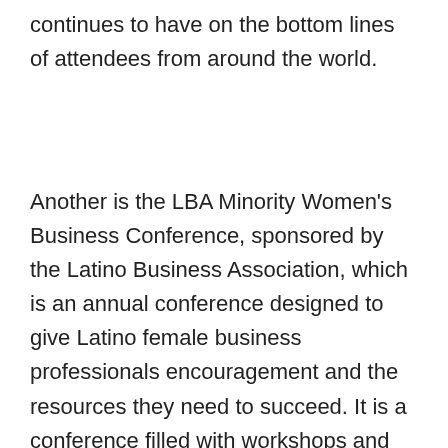continues to have on the bottom lines of attendees from around the world.
Another is the LBA Minority Women's Business Conference, sponsored by the Latino Business Association, which is an annual conference designed to give Latino female business professionals encouragement and the resources they need to succeed. It is a conference filled with workshops and speeches by Latino business leaders in the Los Angeles area.